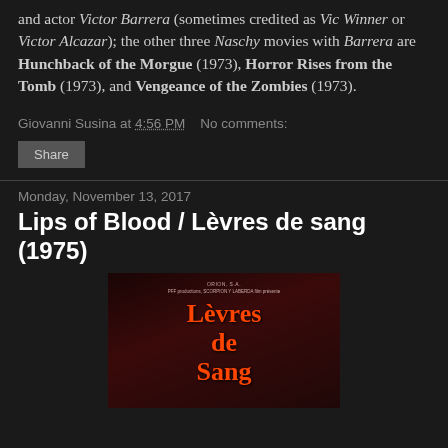and actor Victor Barrera (sometimes credited as Vic Winner or Victor Alcazar); the other three Naschy movies with Barrera are Hunchback of the Morgue (1973), Horror Rises from the Tomb (1973), and Vengeance of the Zombies (1973).
Giovanni Susina at 4:56 PM   No comments:
Share
Monday, November 13, 2017
Lips of Blood / Lèvres de sang (1975)
[Figure (photo): Movie poster for Lèvres de sang (1975) showing the title in large orange-red decorative text on a dark red/maroon background]